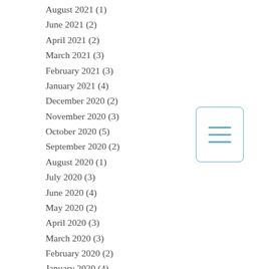August 2021 (1)
June 2021 (2)
April 2021 (2)
March 2021 (3)
February 2021 (3)
January 2021 (4)
December 2020 (2)
November 2020 (3)
October 2020 (5)
September 2020 (2)
August 2020 (1)
July 2020 (3)
June 2020 (4)
May 2020 (2)
April 2020 (3)
March 2020 (3)
February 2020 (2)
January 2020 (4)
December 2019 (2)
November 2019 (7)
October 2019 (6)
September 2019 (4)